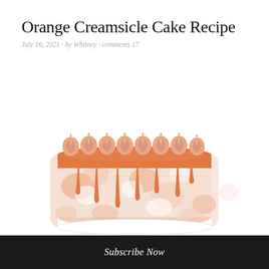Orange Creamsicle Cake Recipe
July 16, 2021 · by Whitney · comments 17
[Figure (photo): An orange creamsicle cake with a semi-naked white and orange frosting exterior, orange caramel drip running down the sides, and a ring of swirled orange buttercream rosettes on top, photographed against a white background.]
Subscribe Now